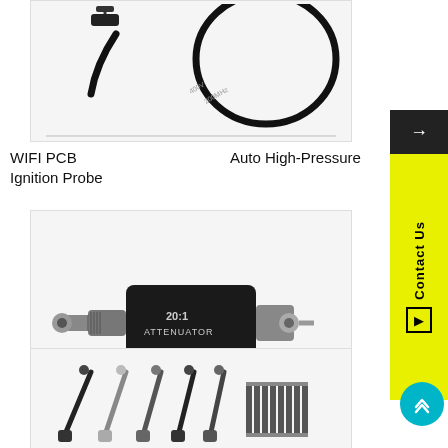[Figure (photo): WIFI PCB Ignition Probe – black coiled cable with connector and clip]
WIFI PCB Ignition Probe
Auto High-Pressure
[Figure (photo): 20:1 Attenuator probe – black rectangular body with BNC connector on one end and SMA connector on the other]
[Figure (photo): Multiple test probes/clips and a comb-like component laid out on white background]